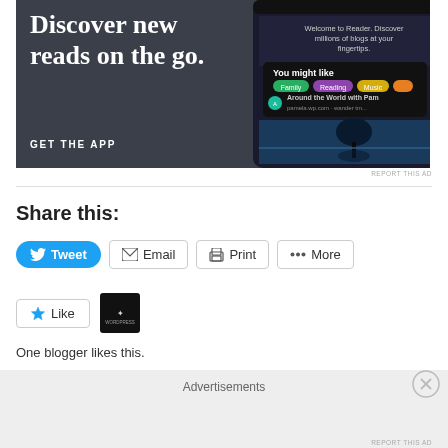[Figure (screenshot): App advertisement banner with dark gray background. Left side shows large white serif text 'Discover new reads on the go.' with 'GET THE APP' call-to-action in white caps. Right side shows a phone mockup with a blog reader app interface showing 'Welcome to Reader. Discover millions of blogs at your fingertips.' and 'You might like' section with category pills.]
REPORT THIS AD
Share this:
Tweet
Email
Print
More
Like
One blogger likes this.
Advertisements
REPORT THIS AD